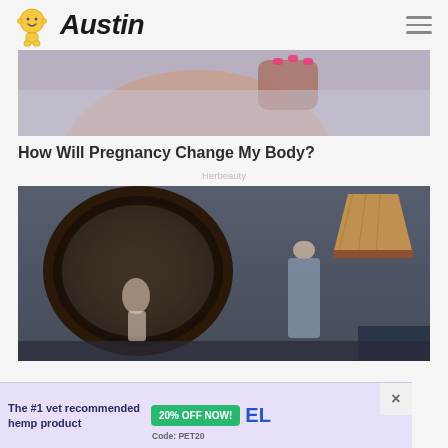Austin
[Figure (photo): Close-up of a pregnant woman's belly, dark-skinned woman with pink manicured nails resting on baby bump, wearing white/grey top]
How Will Pregnancy Change My Body?
Herbeauty
[Figure (photo): Atmospheric dark interior scene: a woman standing in profile looking at an ornate oval mirror on a textured wall, with a vintage lamp visible to the right]
[Figure (infographic): Advertisement banner: 'The #1 vet recommended hemp product' with '20% OFF NOW!' green badge and 'Code: PET20' with brand logo 'EL']